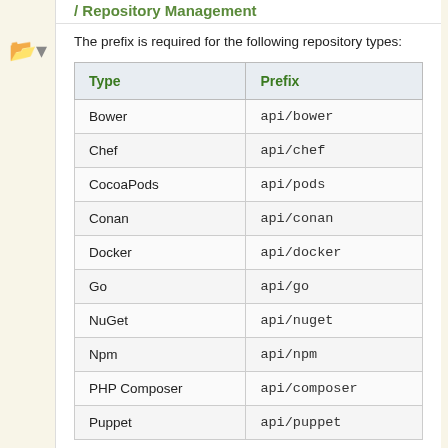/ Repository Management
The prefix is required for the following repository types:
| Type | Prefix |
| --- | --- |
| Bower | api/bower |
| Chef | api/chef |
| CocoaPods | api/pods |
| Conan | api/conan |
| Docker | api/docker |
| Go | api/go |
| NuGet | api/nuget |
| Npm | api/npm |
| PHP Composer | api/composer |
| Puppet | api/puppet |